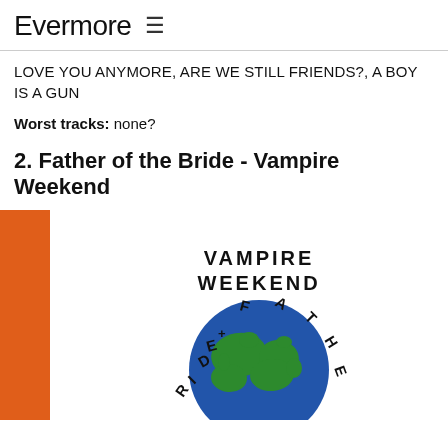Evermore ≡
LOVE YOU ANYMORE, ARE WE STILL FRIENDS?, A BOY IS A GUN
Worst tracks: none?
2. Father of the Bride - Vampire Weekend
[Figure (illustration): Album cover for 'Father of the Bride' by Vampire Weekend. Shows a globe (earth with green landmasses and blue ocean) with letters arranged in a curved arc around the top reading 'RIDE + FATHE' with more letters continuing. Above the globe text reads 'VAMPIRE WEEKEND' in bold uppercase letters. An orange vertical bar appears on the left side.]